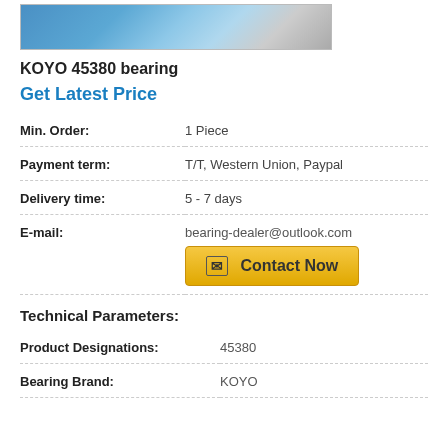[Figure (photo): Product photo showing KOYO 45380 bearing on blue background with engineering diagrams]
KOYO 45380 bearing
Get Latest Price
| Field | Value |
| --- | --- |
| Min. Order: | 1 Piece |
| Payment term: | T/T, Western Union, Paypal |
| Delivery time: | 5 - 7 days |
| E-mail: | bearing-dealer@outlook.com |
Technical Parameters:
| Field | Value |
| --- | --- |
| Product Designations: | 45380 |
| Bearing Brand: | KOYO |